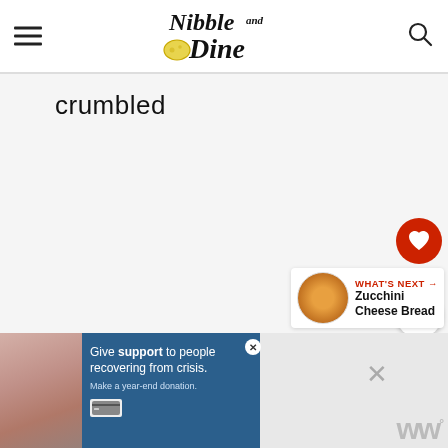[Figure (logo): Nibble and Dine website logo with hamburger menu and search icon]
crumbled
[Figure (infographic): Heart/like button showing 2.1K likes and a share button]
[Figure (infographic): What's Next section showing Zucchini Cheese Bread with circular food photo]
[Figure (screenshot): Advertisement: Give support to people recovering from crisis. Make a year-end donation.]